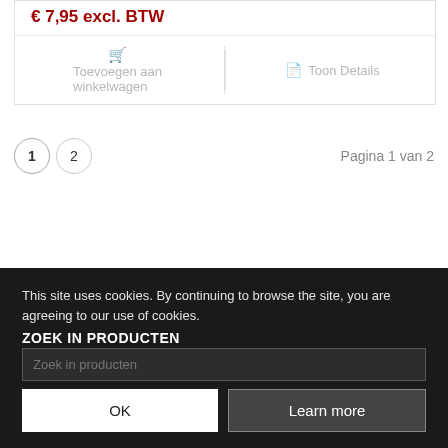€ 7,95 excl. BTW
Toevoegen aan winkelwagen
Toon Details
Pagina 1 van 2
This site uses cookies. By continuing to browse the site, you are agreeing to our use of cookies.
ZOEK IN PRODUCTEN
Zoek in producten
OK
Learn more